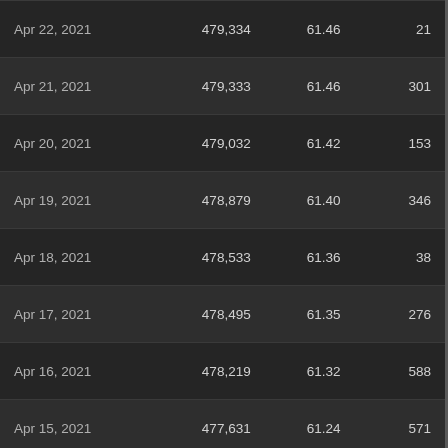| Date | Total Cases | Per 100K | New Cases |
| --- | --- | --- | --- |
| Apr 22, 2021 | 479,334 | 61.46 | 21 |
| Apr 21, 2021 | 479,333 | 61.46 | 301 |
| Apr 20, 2021 | 479,032 | 61.42 | 153 |
| Apr 19, 2021 | 478,879 | 61.40 | 346 |
| Apr 18, 2021 | 478,533 | 61.36 | 38 |
| Apr 17, 2021 | 478,495 | 61.35 | 276 |
| Apr 16, 2021 | 478,219 | 61.32 | 588 |
| Apr 15, 2021 | 477,631 | 61.24 | 571 |
| Apr 14, 2021 | 477,060 | 61.17 | 320 |
| Apr 13, 2021 | 476,740 | 61.13 | 1,089 |
| Apr 12, 2021 | 475,651 | 60.99 | 1,348 |